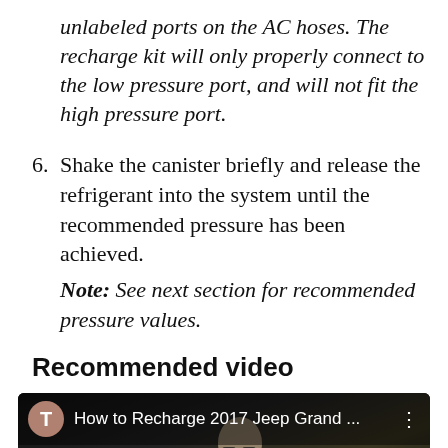unlabeled ports on the AC hoses. The recharge kit will only properly connect to the low pressure port, and will not fit the high pressure port.
6. Shake the canister briefly and release the refrigerant into the system until the recommended pressure has been achieved. Note: See next section for recommended pressure values.
Recommended video
[Figure (screenshot): Video thumbnail showing a YouTube-style video player with title 'How to Recharge 2017 Jeep Grand ...' and a person wearing sunglasses visible in the background.]